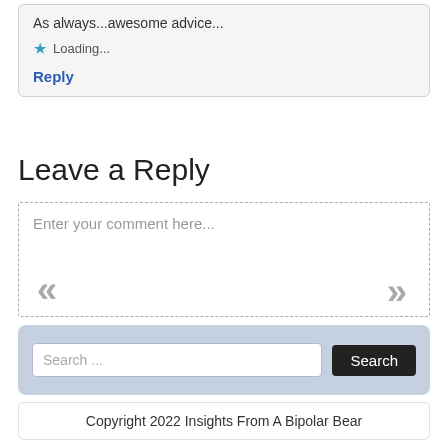As always...awesome advice...
★ Loading...
Reply
Leave a Reply
Enter your comment here...
Search ...
Copyright 2022 Insights From A Bipolar Bear